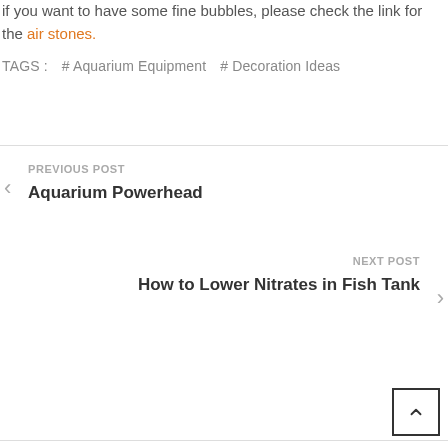if you want to have some fine bubbles, please check the link for the air stones.
TAGS :   # Aquarium Equipment   # Decoration Ideas
PREVIOUS POST
Aquarium Powerhead
NEXT POST
How to Lower Nitrates in Fish Tank
Leave a Comment